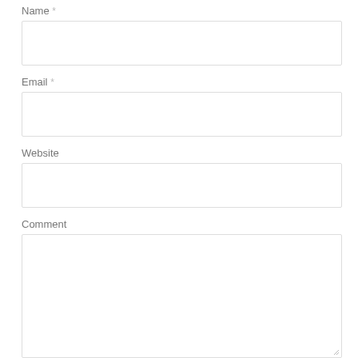Name *
[Figure (other): Empty text input box for Name field]
Email *
[Figure (other): Empty text input box for Email field]
Website
[Figure (other): Empty text input box for Website field]
Comment
[Figure (other): Empty textarea input box for Comment field with resize handle]